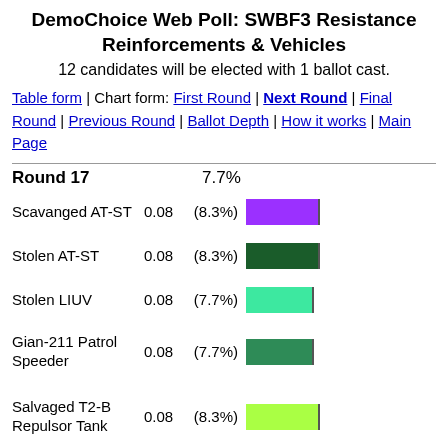DemoChoice Web Poll: SWBF3 Resistance Reinforcements & Vehicles
12 candidates will be elected with 1 ballot cast.
Table form | Chart form: First Round | Next Round | Final Round | Previous Round | Ballot Depth | How it works | Main Page
Round 17   7.7%
[Figure (bar-chart): Round 17]